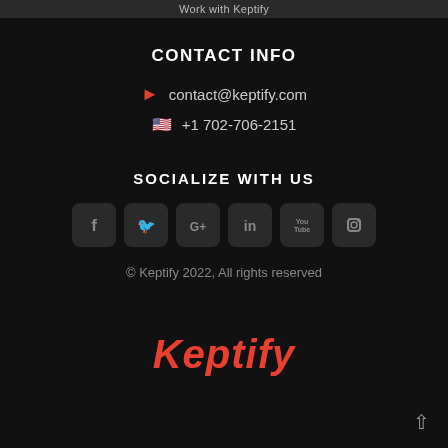Work with Keptify
CONTACT INFO
contact@keptify.com
+1 702-706-2151
SOCIALIZE WITH US
[Figure (illustration): Row of 6 social media icons: Facebook, Twitter, Google+, LinkedIn, YouTube, Instagram, each in a dark rounded square]
© Keptify 2022, All rights reserved
[Figure (logo): Keptify logo in bold red/orange font]